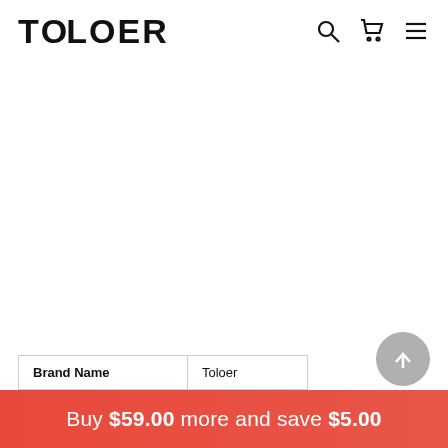TOLOER
| Brand Name | Toloer |
| --- | --- |
Buy $59.00 more and save $5.00